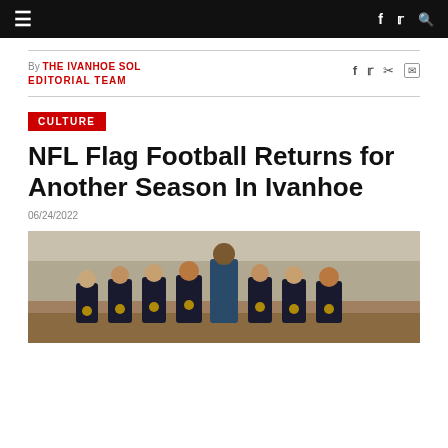≡   f  🐦  🔍
By THE IVANHOE SOL EDITORIAL TEAM
06/24/2022
CULTURE
NFL Flag Football Returns for Another Season In Ivanhoe
06/24/2022
[Figure (photo): Group of young boys in black Steelers jerseys posing on a grass/dirt field with an adult coach behind them, outdoors]